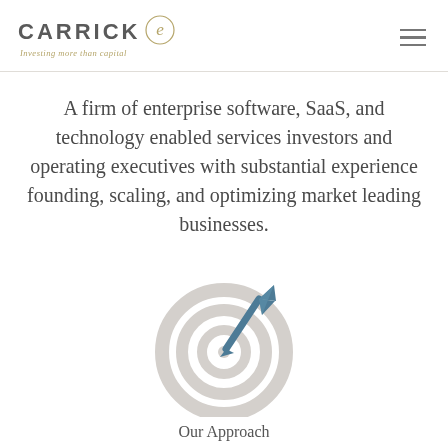CARRICK — Investing more than capital
A firm of enterprise software, SaaS, and technology enabled services investors and operating executives with substantial experience founding, scaling, and optimizing market leading businesses.
[Figure (illustration): Target/bullseye icon with a dart/arrow pointing at the center, rendered in light gray and steel blue colors.]
Our Approach